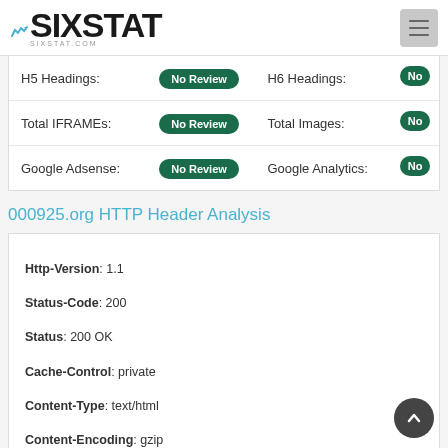[Figure (logo): SIXSTAT logo with teal accent marks above letters, sixstat.com subtitle]
| H5 Headings: | No Review | H6 Headings: | No... |
| Total IFRAMEs: | No Review | Total Images: | No... |
| Google Adsense: | No Review | Google Analytics: | No... |
000925.org HTTP Header Analysis
Http-Version: 1.1
Status-Code: 200
Status: 200 OK
Cache-Control: private
Content-Type: text/html
Content-Encoding: gzip
Vary: Accept-Encoding
Server: Microsoft-IIS/7.5
X-Powered-By: ASP.NET
X-UA-Compatible: IE=EmulateIE7